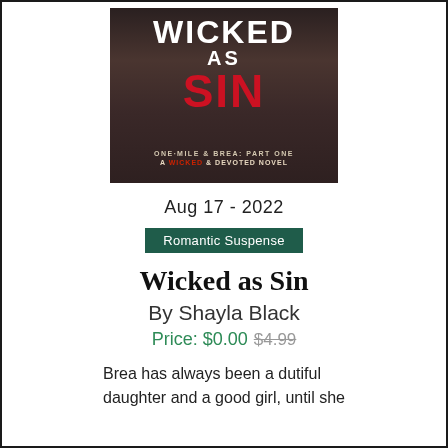[Figure (illustration): Book cover for 'Wicked as Sin' by Shayla Black. Dark background with a tattooed male torso. Title text: WICKED AS SIN in white and red. Subtitle: One Mile & Brea: Part One — A Wicked & Devoted Novel.]
Aug 17 - 2022
Romantic Suspense
Wicked as Sin
By Shayla Black
Price: $0.00  $4.99
Brea has always been a dutiful daughter and a good girl, until she